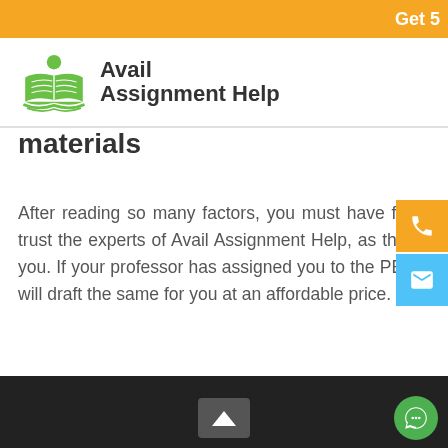Get 5
[Figure (logo): Avail Assignment Help logo with green open book and figure icon]
materials
After reading so many factors, you must have familiar with the in-depth knowledge of our academic writers. Now, you trust the experts of Avail Assignment Help, as they prepare and deliver the top-notch academic paper within deadline to you. If your professor has assigned you to the PESTLE analysis on the Apple case study, then no worries, as our experts will draft the same for you at an affordable price.
[Figure (other): Dark footer area with up arrow button and green chat button]